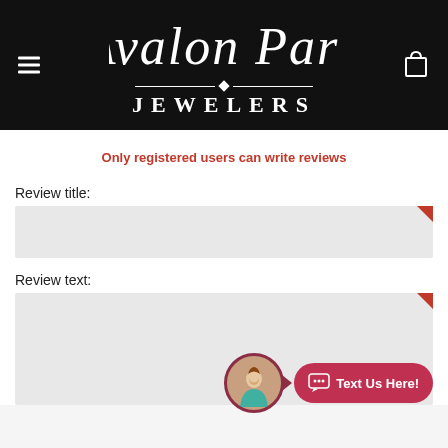[Figure (logo): Avalon Park Jewelers logo — white serif text on black background with diamond divider and decorative lines]
Only registered users can write reviews
Review title:
Review text:
[Figure (other): Chat widget with circular avatar of a woman and a red pill-shaped button labeled 'Text Us Here!']